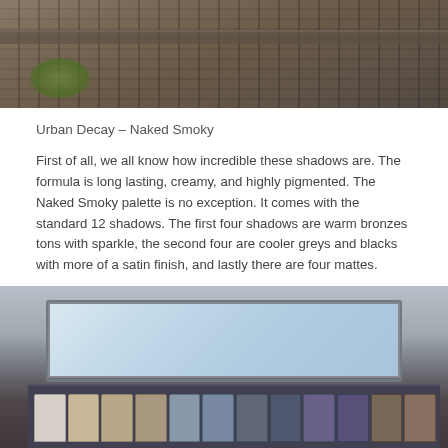[Figure (photo): Outdoor photo showing a wooden deck railing with dark wood grain texture and green leaves visible in the lower left corner]
Urban Decay – Naked Smoky
First of all, we all know how incredible these shadows are. The formula is long lasting, creamy, and highly pigmented. The Naked Smoky palette is no exception. It comes with the standard 12 shadows. The first four shadows are warm bronzes tons with sparkle, the second four are cooler greys and blacks with more of a satin finish, and lastly there are four mattes.
[Figure (photo): Photo of the Urban Decay Naked Smoky eyeshadow palette open showing a large mirror on top and 12 eyeshadow pans arranged in a row at the bottom, ranging from light shimmer shades to blues, purples, and brown mattes]